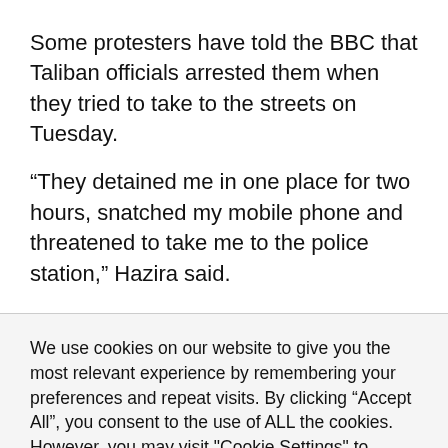Some protesters have told the BBC that Taliban officials arrested them when they tried to take to the streets on Tuesday.
“They detained me in one place for two hours, snatched my mobile phone and threatened to take me to the police station,” Hazira said.
We use cookies on our website to give you the most relevant experience by remembering your preferences and repeat visits. By clicking “Accept All”, you consent to the use of ALL the cookies. However, you may visit "Cookie Settings" to provide a controlled consent.